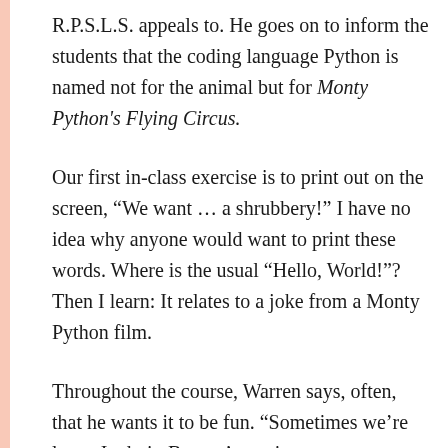R.P.S.L.S. appeals to. He goes on to inform the students that the coding language Python is named not for the animal but for Monty Python's Flying Circus.
Our first in-class exercise is to print out on the screen, “We want … a shrubbery!” I have no idea why anyone would want to print these words. Where is the usual “Hello, World!”? Then I learn: It relates to a joke from a Monty Python film.
Throughout the course, Warren says, often, that he wants it to be fun. “Sometimes we’re lame, I admit. But we’re trying not to